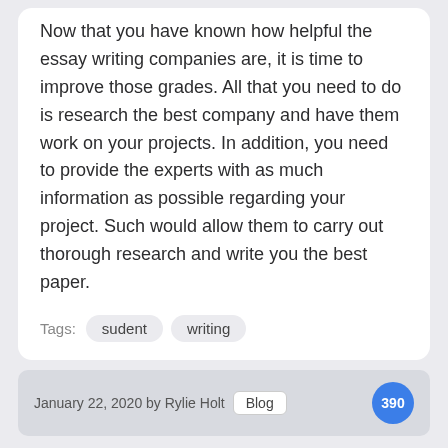Now that you have known how helpful the essay writing companies are, it is time to improve those grades. All that you need to do is research the best company and have them work on your projects. In addition, you need to provide the experts with as much information as possible regarding your project. Such would allow them to carry out thorough research and write you the best paper.
Tags: sudent  writing
January 22, 2020 by Rylie Holt  Blog  390
You may also like...